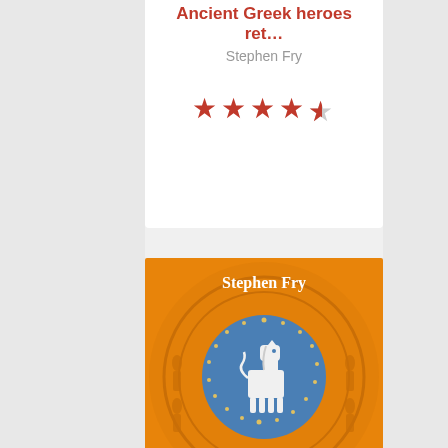Ancient Greek heroes ret…
Stephen Fry
[Figure (other): 4.5 star rating shown with red filled stars and one half-filled star]
[Figure (illustration): Book cover for Troy by Stephen Fry showing a Trojan horse on a blue circle against an orange decorative background with the title TROY and Penguin publisher logo]
Troy: Our Greatest Story Retold
Stephen Fry